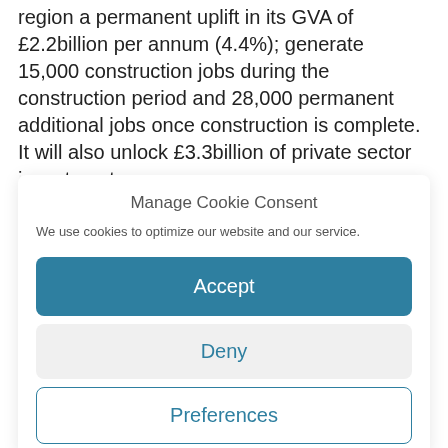region a permanent uplift in its GVA of £2.2billion per annum (4.4%); generate 15,000 construction jobs during the construction period and 28,000 permanent additional jobs once construction is complete. It will also unlock £3.3billion of private sector investment.
The eight local authorities participating in the Glasgow
Manage Cookie Consent
We use cookies to optimize our website and our service.
Accept
Deny
Preferences